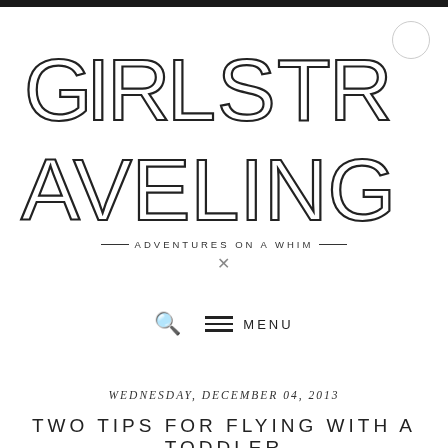[Figure (logo): Girls Traveling blog logo with hand-drawn outlined lettering style]
— ADVENTURES ON A WHIM —
✕
🔍  ≡  MENU
WEDNESDAY, DECEMBER 04, 2013
TWO TIPS FOR FLYING WITH A TODDLER
hola. checking in from our little vay-cay!